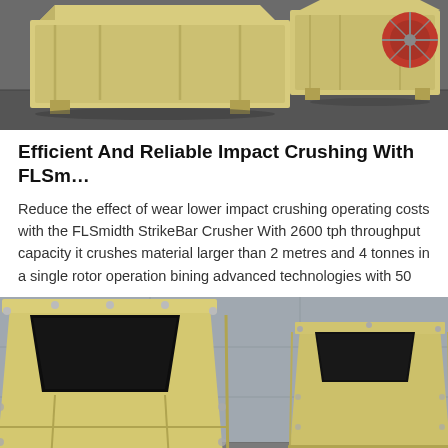[Figure (photo): Photo of FLSmidth jaw crushers — large yellow/beige industrial crushing machines on a concrete floor in a warehouse/factory setting. Two machines visible, one in foreground and one behind. Red flywheel visible on rear machine.]
Efficient And Reliable Impact Crushing With FLSm…
Reduce the effect of wear lower impact crushing operating costs with the FLSmidth StrikeBar Crusher With 2600 tph throughput capacity it crushes material larger than 2 metres and 4 tonnes in a single rotor operation bining advanced technologies with 50
[Figure (photo): Photo of two large FLSmidth StrikeBar impact crushers — yellow/beige industrial machines with large rectangular feed openings facing the camera, set in a concrete outdoor/industrial area. A small teal/blue icon is visible in the lower right corner.]